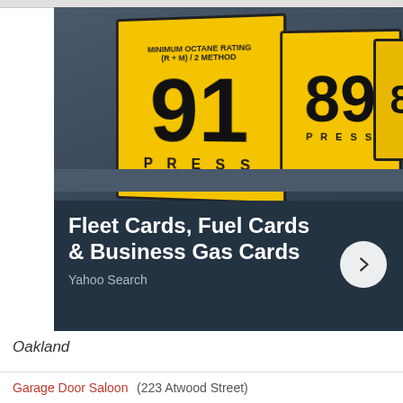[Figure (photo): Advertisement banner showing gas pump octane rating cards (91 PRESS, 89, 87) with text overlay: Fleet Cards, Fuel Cards & Business Gas Cards. Yahoo Search. Arrow button on right.]
Oakland
The Garage Door Saloon is a classic Oakland dive and a favorite with students in the area. The drinks are unique, delicious, and strong. It's a fun spot for playing bar games and hanging with friends.
Garage Door Saloon (223 Atwood Street)